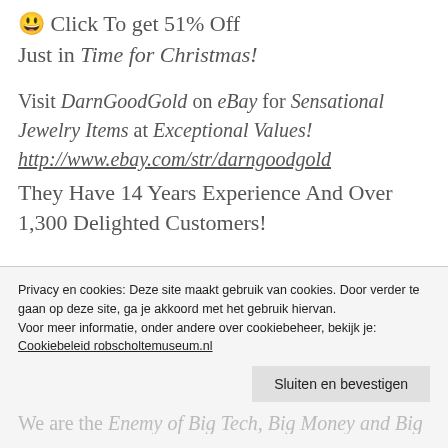😃 Click To get 51% Off Just in Time for Christmas!
Visit DarnGoodGold on eBay for Sensational Jewelry Items at Exceptional Values! http://www.ebay.com/str/darngoodgold They Have 14 Years Experience And Over 1,300 Delighted Customers!
JOIN US ON TELEGRAM https://t.me/ChristianPatriotNews
Sponsor A Show
Privacy en cookies: Deze site maakt gebruik van cookies. Door verder te gaan op deze site, ga je akkoord met het gebruik hiervan.
Voor meer informatie, onder andere over cookiebeheer, bekijk je:
Cookiebeleid robscholtemuseum.nl
Sluiten en bevestigen
We are the Enemy of Big Tech, Big Money and Big